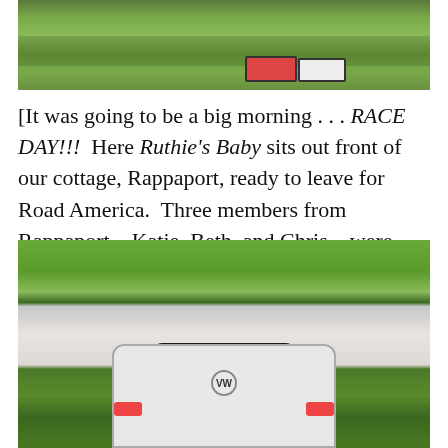[Figure (photo): Outdoor photo showing people gathered on a lawn with cornhole boards visible, trees in background]
[It was going to be a big morning . . . RACE DAY!!!  Here Ruthie's Baby sits out front of our cottage, Rappaport, ready to leave for Road America.  Three members from Rappaport – Katie, Beth, and Chris – were going to compete at that internationally-famous venue . . . ]
[Figure (photo): Photo of a white VW Beetle convertible parked in front of a small white cottage with trees surrounding it]